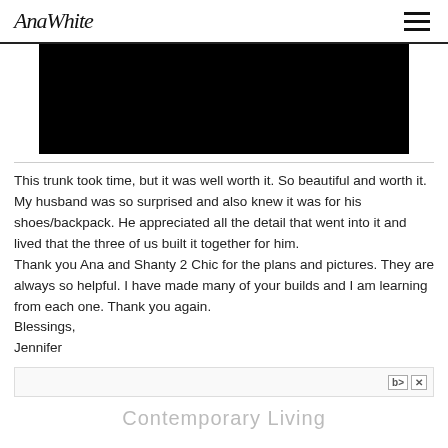AnaWhite
[Figure (photo): Black rectangle representing an image placeholder]
This trunk took time, but it was well worth it. So beautiful and worth it. My husband was so surprised and also knew it was for his shoes/backpack. He appreciated all the detail that went into it and lived that the three of us built it together for him.
Thank you Ana and Shanty 2 Chic for the plans and pictures. They are always so helpful. I have made many of your builds and I am learning from each one. Thank you again.
Blessings,
Jennifer
Contemporary Living